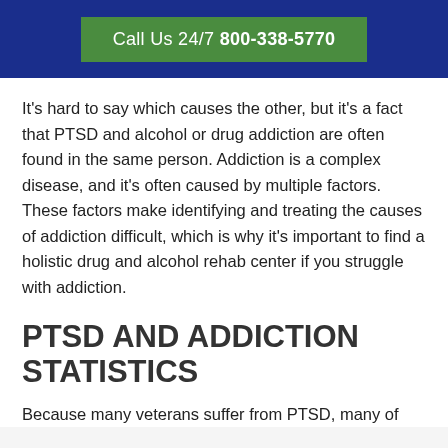Call Us 24/7 800-338-5770
It's hard to say which causes the other, but it's a fact that PTSD and alcohol or drug addiction are often found in the same person. Addiction is a complex disease, and it's often caused by multiple factors. These factors make identifying and treating the causes of addiction difficult, which is why it's important to find a holistic drug and alcohol rehab center if you struggle with addiction.
PTSD AND ADDICTION STATISTICS
Because many veterans suffer from PTSD, many of